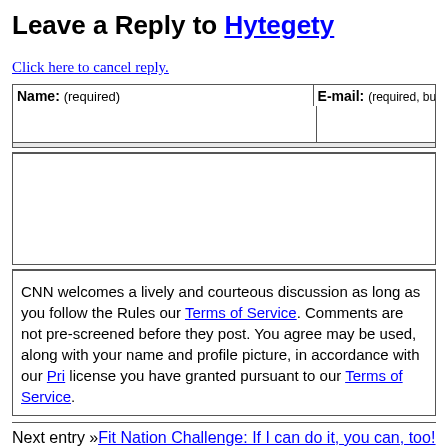Leave a Reply to Hytegety
Click here to cancel reply.
| Name: (required) | E-mail: (required, but will not …) |
| --- | --- |
|  |  |
CNN welcomes a lively and courteous discussion as long as you follow the Rules our Terms of Service. Comments are not pre-screened before they post. You agree may be used, along with your name and profile picture, in accordance with our Pri license you have granted pursuant to our Terms of Service.
Next entry »Fit Nation Challenge: If I can do it, you can, too! « Previous entryH1N1 vaccine — I had an allergic reaction